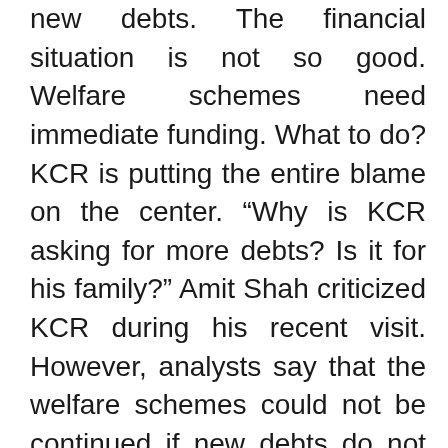new debts. The financial situation is not so good. Welfare schemes need immediate funding. What to do? KCR is putting the entire blame on the center. “Why is KCR asking for more debts? Is it for his family?” Amit Shah criticized KCR during his recent visit. However, analysts say that the welfare schemes could not be continued if new debts do not arise for the state. In this context, it is said that KCR is deeply worried about the possibility of having to discontinue the schemes.